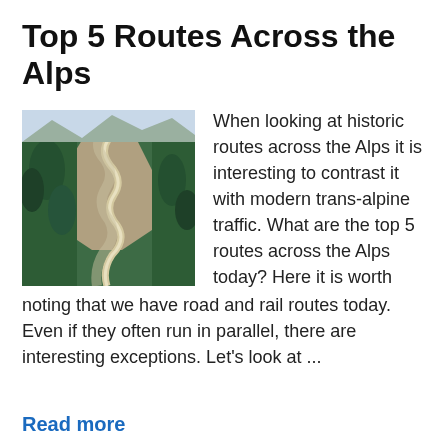Top 5 Routes Across the Alps
[Figure (photo): Aerial photograph of a winding alpine highway through forested mountain terrain, showing hairpin bends and switchbacks.]
When looking at historic routes across the Alps it is interesting to contrast it with modern trans-alpine traffic. What are the top 5 routes across the Alps today? Here it is worth noting that we have road and rail routes today. Even if they often run in parallel, there are interesting exceptions. Let's look at ...
Read more